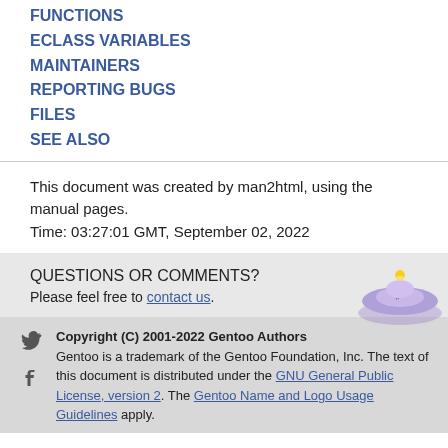FUNCTIONS
ECLASS VARIABLES
MAINTAINERS
REPORTING BUGS
FILES
SEE ALSO
This document was created by man2html, using the manual pages.
Time: 03:27:01 GMT, September 02, 2022
QUESTIONS OR COMMENTS?
Please feel free to contact us.
[Figure (illustration): Gentoo Linux mascot illustration - purple UFO-style spaceship with yellow light on top]
Copyright (C) 2001-2022 Gentoo Authors
Gentoo is a trademark of the Gentoo Foundation, Inc. The text of this document is distributed under the GNU General Public License, version 2. The Gentoo Name and Logo Usage Guidelines apply.